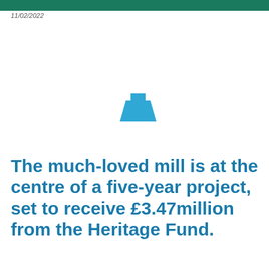11/02/2022
[Figure (illustration): A small blue trapezoid/mill shape icon centered on the page]
The much-loved mill is at the centre of a five-year project, set to receive £3.47million from the Heritage Fund.